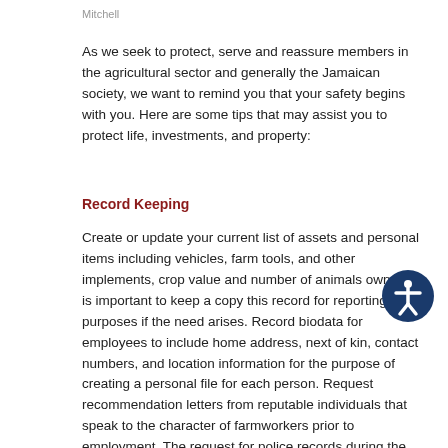Mitchell
As we seek to protect, serve and reassure members in the agricultural sector and generally the Jamaican society, we want to remind you that your safety begins with you. Here are some tips that may assist you to protect life, investments, and property:
Record Keeping
Create or update your current list of assets and personal items including vehicles, farm tools, and other implements, crop value and number of animals owned. It is important to keep a copy this record for reporting purposes if the need arises. Record biodata for employees to include home address, next of kin, contact numbers, and location information for the purpose of creating a personal file for each person. Request recommendation letters from reputable individuals that speak to the character of farmworkers prior to employment. The request for police records during the vetting process for all potential employees is relevant. A log of all animals and their branding number, tattoo or tag number should also be kept for personal records. This information applies to both large and small farmers.